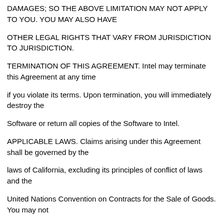DAMAGES; SO THE ABOVE LIMITATION MAY NOT APPLY TO YOU. YOU MAY ALSO HAVE
OTHER LEGAL RIGHTS THAT VARY FROM JURISDICTION TO JURISDICTION.
TERMINATION OF THIS AGREEMENT. Intel may terminate this Agreement at any time
if you violate its terms. Upon termination, you will immediately destroy the
Software or return all copies of the Software to Intel.
APPLICABLE LAWS. Claims arising under this Agreement shall be governed by the
laws of California, excluding its principles of conflict of laws and the
United Nations Convention on Contracts for the Sale of Goods. You may not
export the Software in violation of applicable export laws and regulations.
Intel is not obligated under any other agreements unless they are in writing